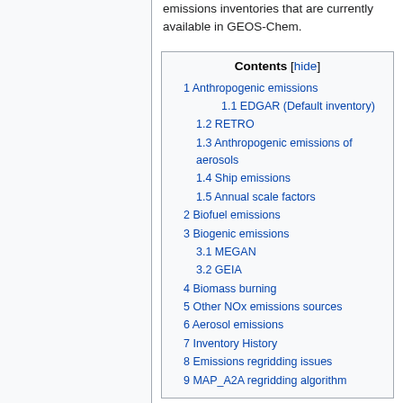emissions inventories that are currently available in GEOS-Chem.
Contents [hide]
1 Anthropogenic emissions
1.1 EDGAR (Default inventory)
1.2 RETRO
1.3 Anthropogenic emissions of aerosols
1.4 Ship emissions
1.5 Annual scale factors
2 Biofuel emissions
3 Biogenic emissions
3.1 MEGAN
3.2 GEIA
4 Biomass burning
5 Other NOx emissions sources
6 Aerosol emissions
7 Inventory History
8 Emissions regridding issues
9 MAP_A2A regridding algorithm